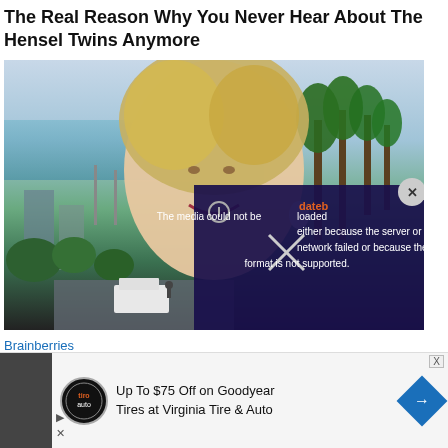The Real Reason Why You Never Hear About The Hensel Twins Anymore
[Figure (photo): Blonde woman smiling outdoors with sea, palm trees and city view in background. An error overlay on the bottom right reads: 'The media could not be loaded either because the server or network failed or because the format is not supported.' with a close button (X) in the top right corner.]
Brainberries
Here Are Some Celebs W... With Age
[Figure (screenshot): Advertisement: Up To $75 Off on Goodyear Tires at Virginia Tire & Auto, with Tiro Auto logo and navigation arrow. Play and close (X) icons visible on left side.]